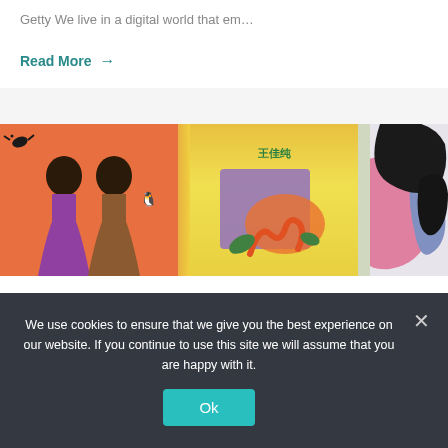Getty We live in a digital world that em…
Read More →
[Figure (photo): A horizontal strip of three colorful artistic illustrations: left panel shows two women with dark hair on an orange background; center panel shows an abstract colorful illustration with Chinese text '王佳纯'; right panel shows a close-up abstract pink and black organic shape on a light background. A green vertical bar appears on the far right.]
We use cookies to ensure that we give you the best experience on our website. If you continue to use this site we will assume that you are happy with it.
Ok